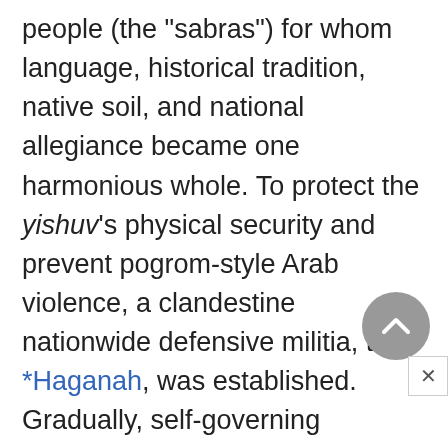people (the "sabras") for whom language, historical tradition, native soil, and national allegiance became one harmonious whole. To protect the yishuv's physical security and prevent pogrom-style Arab violence, a clandestine nationwide defensive militia, the *Haganah, was established. Gradually, self-governing institutions emerged, gaining partial official recognition (such as *Keneset Israel, municipal councils, etc.) and partly serving the Jewish population by